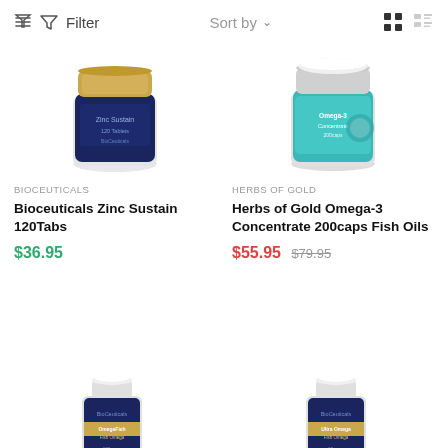Filter   Sort by   [grid view] [list view]
[Figure (photo): Bioceuticals Zinc Sustain supplement jar with dark navy blue label and gold lid]
BIOCEUTICALS
Bioceuticals Zinc Sustain 120Tabs
$36.95
[Figure (photo): Herbs of Gold Omega-3 Concentrate supplement jar with teal/turquoise label]
HERBS OF GOLD
Herbs of Gold Omega-3 Concentrate 200caps Fish Oils
$55.95  $79.95
[Figure (photo): Bioceuticals supplement bottle with navy blue label and gold band, partially visible at bottom]
[Figure (photo): Bioceuticals supplement bottle with navy blue label and gold band, partially visible at bottom]